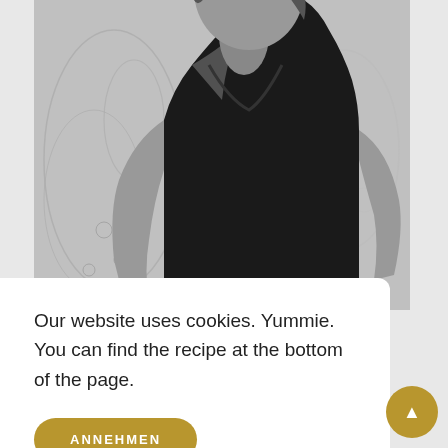[Figure (photo): Black and white photo of a woman wearing a black sleeveless top, standing in front of a decorative patterned background. The photo is cropped at the torso and head level.]
Our website uses cookies. Yummie. You can find the recipe at the bottom of the page.
ANNEHMEN